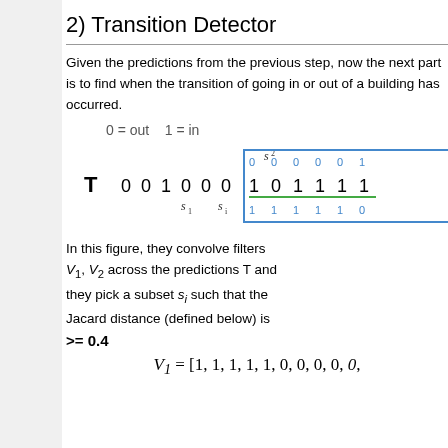2) Transition Detector
Given the predictions from the previous step, now the next part is to find when the transition of going in or out of a building has occurred.
[Figure (other): Sequence diagram showing T with values 0 0 1 0 0 0 1 0 1 1 1 1, with labels s2, s1, si and a blue box highlighting a subset region with green underline.]
In this figure, they convolve filters V1, V2 across the predictions T and they pick a subset si such that the Jacard distance (defined below) is >= 0.4